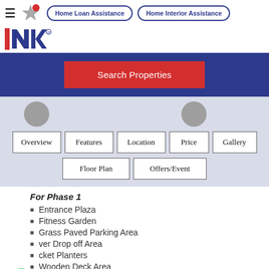Home Loan Assistance | Home Interior Assistance
[Figure (logo): NIC/NK real estate company logo with red and dark blue design]
Search Properties
Overview | Features | Location | Price | Gallery | Floor Plan | Offers/Event
For Phase 1
Entrance Plaza
Fitness Garden
Grass Paved Parking Area
ver Drop off Area
cket Planters
Wooden Deck Area
Stepping stones in grass
9AM to 8PM IST